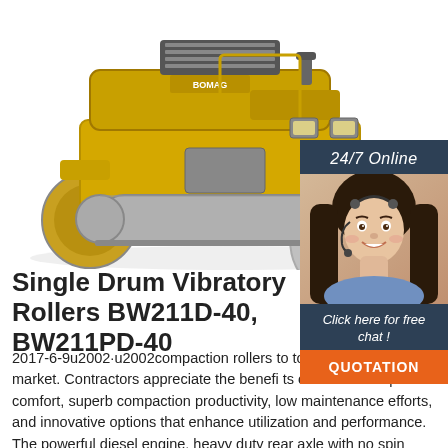[Figure (photo): Yellow single drum vibratory roller / compaction machine (Bomag) photographed on white background, front-left view showing drum, engine hood, and operator platform]
[Figure (photo): Customer service representative sidebar: '24/7 Online' header in dark blue, photo of smiling woman with headset, 'Click here for free chat!' text, and orange QUOTATION button]
Single Drum Vibratory Rollers BW211D-40, BW211PD-40
2017-6-9u2002·u2002compaction rollers to today's construction market. Contractors appreciate the benefits of maximum operator comfort, superb compaction productivity, low maintenance efforts, and innovative options that enhance utilization and performance. The powerful diesel engine, heavy duty rear axle with no spin